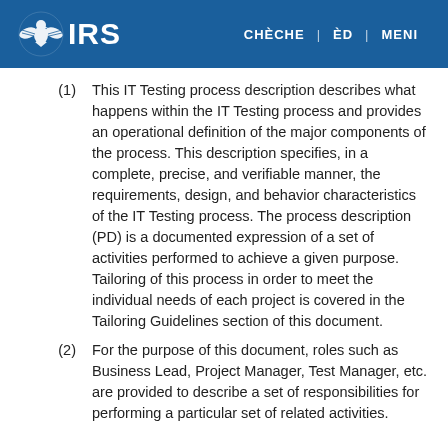IRS | CHÈCHE | ÈD | MENI
(1) This IT Testing process description describes what happens within the IT Testing process and provides an operational definition of the major components of the process. This description specifies, in a complete, precise, and verifiable manner, the requirements, design, and behavior characteristics of the IT Testing process. The process description (PD) is a documented expression of a set of activities performed to achieve a given purpose. Tailoring of this process in order to meet the individual needs of each project is covered in the Tailoring Guidelines section of this document.
(2) For the purpose of this document, roles such as Business Lead, Project Manager, Test Manager, etc. are provided to describe a set of responsibilities for performing a particular set of related activities.